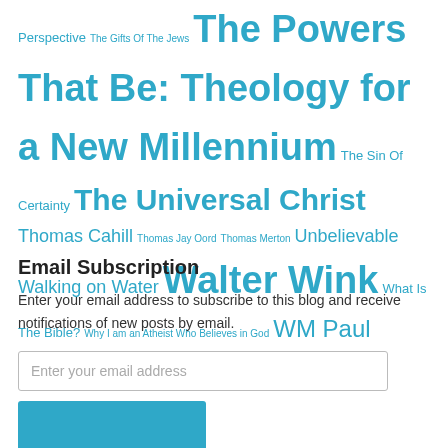Perspective The Gifts Of The Jews The Powers That Be: Theology for a New Millennium The Sin Of Certainty The Universal Christ Thomas Cahill Thomas Jay Oord Thomas Merton Unbelievable Walking on Water Walter Wink What Is The Bible? Why I am an Atheist Who Believes in God WM Paul Young
Email Subscription
Enter your email address to subscribe to this blog and receive notifications of new posts by email.